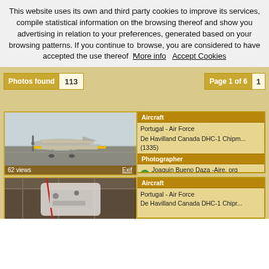This website uses its own and third party cookies to improve its services, compile statistical information on the browsing thereof and show you advertising in relation to your preferences, generated based on your browsing patterns. If you continue to browse, you are considered to have accepted the use thereof  More info  Accept Cookies
Photos found 113
Page 1 of 6 1
[Figure (photo): Portugal Air Force De Havilland Canada DHC-1 Chipmunk aircraft on tarmac, propeller aircraft, grey/yellow markings. 62 views. Exif link.]
Aircraft
Portugal - Air Force
De Havilland Canada DHC-1 Chipmunk (1335)
Photographer
Joaquin Bueno Daza -Aire. org fans group
[Figure (photo): Interior view of aircraft hangar showing fuselage/structure, partially visible.]
Aircraft
Portugal - Air Force
De Havilland Canada DHC-1 Chipr...